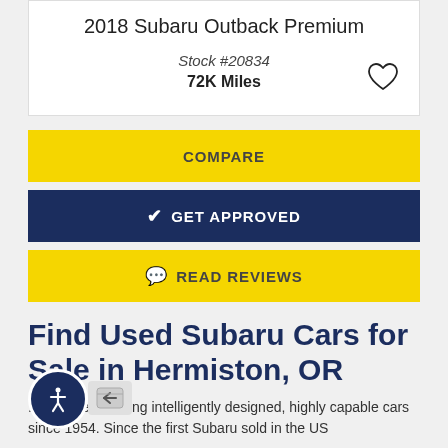2018 Subaru Outback Premium
Stock #20834
72K Miles
COMPARE
✔ GET APPROVED
💬 READ REVIEWS
Find Used Subaru Cars for Sale in Hermiston, OR
...has been offering intelligently designed, highly capable cars since 1954. Since the first Subaru sold in the US in 1968, the brand has been growing with the demand...